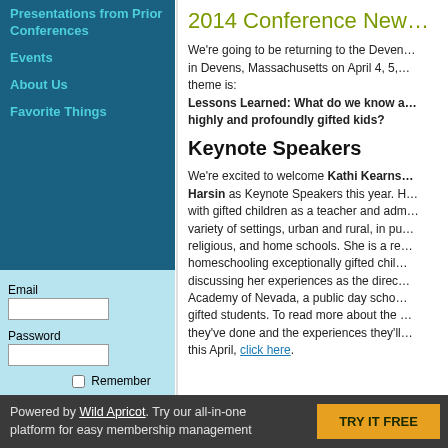Presentations from Prior Conferences
Events
About Us
Favorite Things
2014 Conference New…
We're going to be returning to the Devens… in Devens, Massachusetts on April 4, 5,… theme is: Lessons Learned: What do we know a… highly and profoundly gifted kids?
Keynote Speakers
We're excited to welcome Kathi Kearns… Harsin as Keynote Speakers this year. H… with gifted children as a teacher and adm… variety of settings, urban and rural, in pu… religious, and home schools. She is a re… homeschooling exceptionally gifted chil… discussing her experiences as the direc… Academy of Nevada, a public day school… gifted students. To read more about the… they've done and the experiences they'll… this April, click here.
Powered by Wild Apricot. Try our all-in-one platform for easy membership management